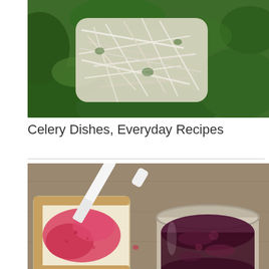[Figure (photo): Close-up photo of shredded celery root or celeriac on a bed of dark green leaves (spinach or similar), viewed from above. The shredded vegetable is white/cream colored with thin strands spread across the green background.]
Celery Dishes, Everyday Recipes
[Figure (photo): Overhead photo of toast with red/pink jam spread on it, a white knife, and a glass jar filled with dark red jam or preserves, placed on a wooden surface. A watermark reads FOOD-OF-DREAM.COM.]